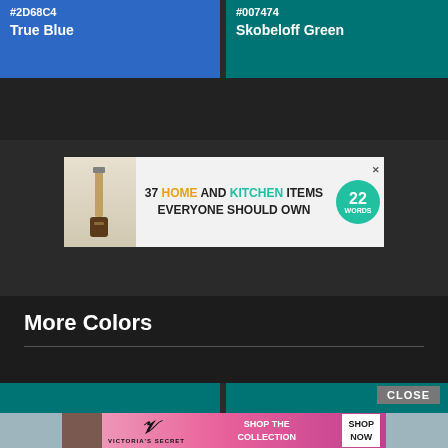#2D68C4 True Blue
#007474 Skobeloff Green
[Figure (infographic): Advertisement banner: '37 HOME AND KITCHEN ITEMS EVERYONE SHOULD OWN' with kitchen knife image and '22 WORDS' circle badge]
More Colors
[Figure (infographic): Victoria's Secret advertisement banner: 'SHOP THE COLLECTION' with SHOP NOW button and model photo]
CLOSE